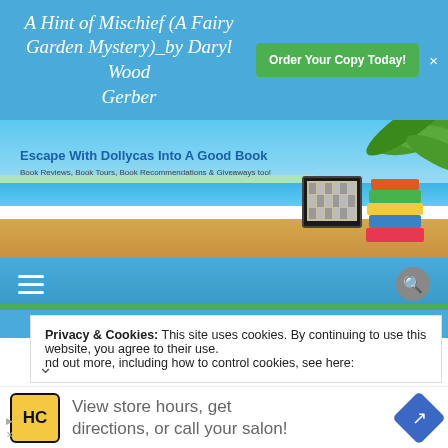A Hint of Mischief (A Fairy Garden Mystery)_by Daryl Wood Gerber
[Figure (screenshot): Website banner for 'Escape With Dollycas Into A Good Book' showing beach scene with palm trees, kindle, and stacked books. Subtitle: Book Reviews, Book Tours, Book Recommendations & Giveaways too!]
[Figure (screenshot): Navigation bar with hamburger menu icon on left and search icon on right, blue background with green bottom border.]
CURRENT & FUTURE GREAT ESCAPES TOURS
Privacy & Cookies: This site uses cookies. By continuing to use this website, you agree to their use.
nd out more, including how to control cookies, see here:
[Figure (screenshot): Advertisement banner: HC logo in yellow square, text 'View store hours, get directions, or call your salon!' with blue diamond arrow icon on right.]